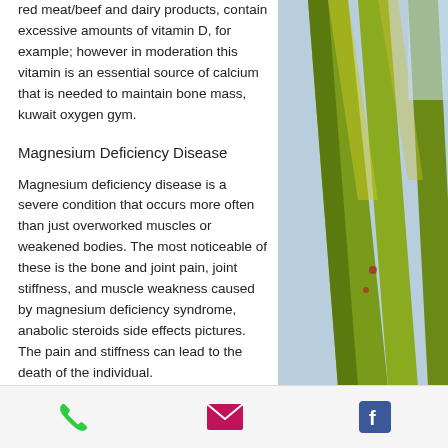red meat/beef and dairy products, contain excessive amounts of vitamin D, for example; however in moderation this vitamin is an essential source of calcium that is needed to maintain bone mass, kuwait oxygen gym.
Magnesium Deficiency Disease
Magnesium deficiency disease is a severe condition that occurs more often than just overworked muscles or weakened bodies. The most noticeable of these is the bone and joint pain, joint stiffness, and muscle weakness caused by magnesium deficiency syndrome, anabolic steroids side effects pictures. The pain and stiffness can lead to the death of the individual.
[Figure (photo): Close-up photo of green and yellow palm or tropical plant leaves/stalks]
Phone icon, Email icon, Facebook icon